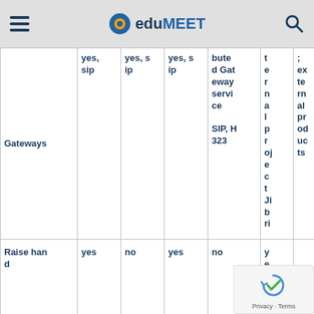eduMEET
|  |  |  |  | buted Gateway service SIP, H 323 | t e r n a l p r oj e c t Ji b ri | ;, ex te rn al pr od uc ts |
| --- | --- | --- | --- | --- | --- | --- |
| Gateways | yes, sip | yes, s ip | yes, s ip | buted Gat eway servi ce

SIP, H 323 | t e r n a l p r oj e c t Ji b ri | ;, ex te rn al pr od uc ts |
| Raise han d | yes | no | yes | no | y e s |  |